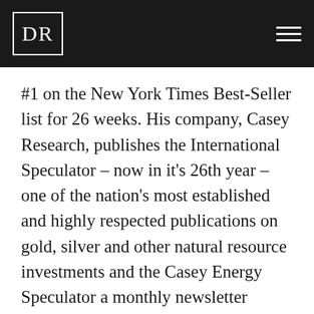DR
#1 on the New York Times Best-Seller list for 26 weeks. His company, Casey Research, publishes the International Speculator – now in it's 26th year – one of the nation's most established and highly respected publications on gold, silver and other natural resource investments and the Casey Energy Speculator a monthly newsletter dedicated to energy opportunities with the very real potential of at least 100% growth within a year.